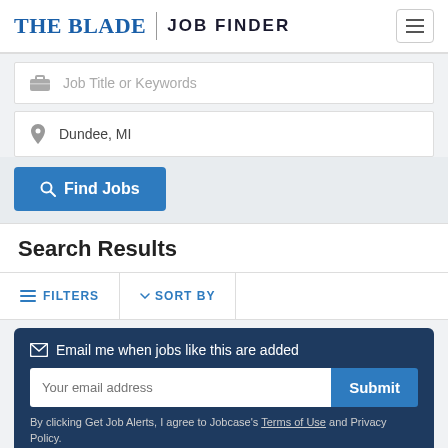THE BLADE | JOB FINDER
Job Title or Keywords
Dundee, MI
Find Jobs
Search Results
FILTERS   SORT BY
Email me when jobs like this are added
Your email address
Submit
By clicking Get Job Alerts, I agree to Jobcase's Terms of Use and Privacy Policy.